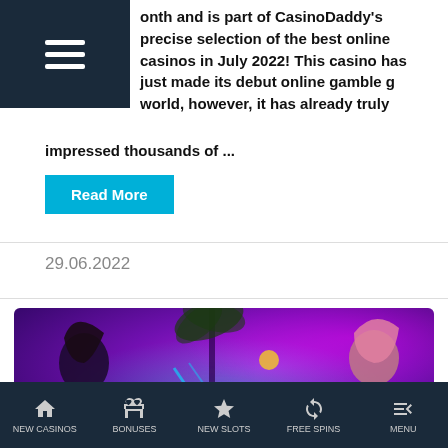onth and is part of CasinoDaddy's precise selection of the best online casinos in July 2022! This casino has just made its debut online gamble g world, however, it has already truly impressed thousands of ...
Read More
29.06.2022
[Figure (photo): Casino promotional banner with text 'Free Spins for deposit' over a purple neon background with two women]
NEW CASINOS  BONUSES  NEW SLOTS  FREE SPINS  MENU